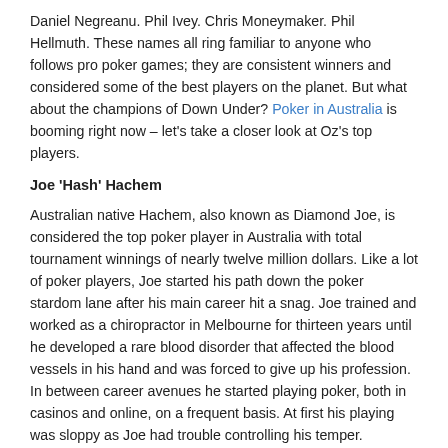Daniel Negreanu. Phil Ivey. Chris Moneymaker. Phil Hellmuth. These names all ring familiar to anyone who follows pro poker games; they are consistent winners and considered some of the best players on the planet. But what about the champions of Down Under? Poker in Australia is booming right now – let's take a closer look at Oz's top players.
Joe 'Hash' Hachem
Australian native Hachem, also known as Diamond Joe, is considered the top poker player in Australia with total tournament winnings of nearly twelve million dollars. Like a lot of poker players, Joe started his path down the poker stardom lane after his main career hit a snag. Joe trained and worked as a chiropractor in Melbourne for thirteen years until he developed a rare blood disorder that affected the blood vessels in his hand and was forced to give up his profession. In between career avenues he started playing poker, both in casinos and online, on a frequent basis. At first his playing was sloppy as Joe had trouble controlling his temper.
After years of casual play, he learned to control his temperamental nature and developed a stone cold poker face. After playing consistently in the Melbourne circuits, he tried his hand at the 2005 World Series of Poker No Limit Hold'em Main Event. He defeated Steve Dannenmann at the final table, luring Steve into an all in after he hit a seven high straight on the flop. His status as a now unknown player quickly evaporated as